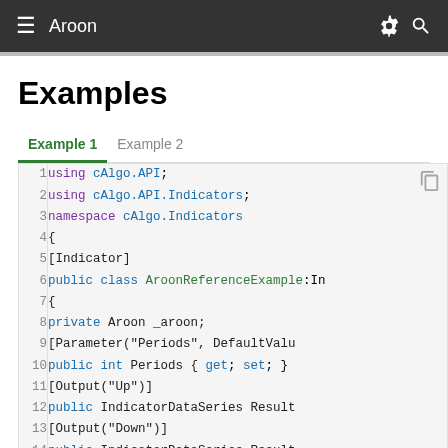≡  Aroon
Examples
Example 1  Example 2
[Figure (screenshot): Code block showing C# cAlgo indicator code with syntax highlighting, lines 1-14. Line 1: using cAlgo.API; Line 2: using cAlgo.API.Indicators; Line 3: namespace cAlgo.Indicators Line 4: { Line 5: [Indicator] Line 6: public class AroonReferenceExample:In Line 7: { Line 8: private Aroon _aroon; Line 9: [Parameter("Periods", DefaultValu Line 10: public int Periods { get; set; } Line 11: [Output("Up")] Line 12: public IndicatorDataSeries Result Line 13: [Output("Down")] Line 14: public IndicatorDataSeries Result]